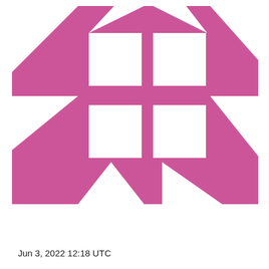[Figure (logo): Abstract geometric logo made of pink/magenta triangles and rectangles forming a windmill or pinwheel-like pattern. The design consists of white rectangular cutouts arranged in a 2x2 grid in the center, surrounded by triangular shapes pointing outward in various directions, all on a pink/magenta background.]
Jun 3, 2022 12:18 UTC